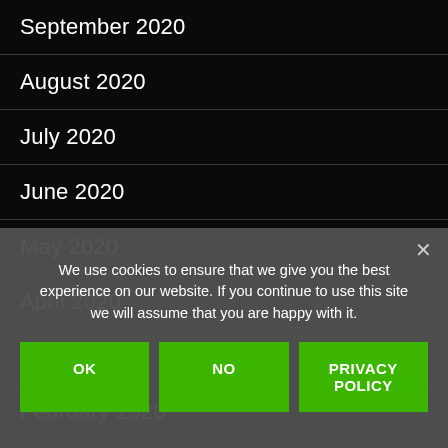September 2020
August 2020
July 2020
June 2020
May 2020
April 2020
March 2020
February 2020
January 2020
December 2019
November 2019
October 2019
We use cookies to ensure that we give you the best experience on our website. If you continue to use this site we will assume that you are happy with it.
OK | NO | PRIVACY POLICY